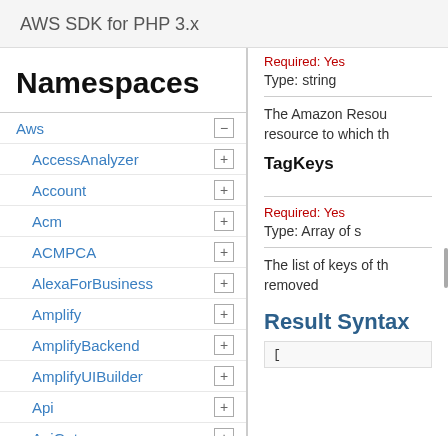AWS SDK for PHP 3.x
Namespaces
Aws
AccessAnalyzer
Account
Acm
ACMPCA
AlexaForBusiness
Amplify
AmplifyBackend
AmplifyUIBuilder
Api
ApiGateway
ApiGatewayManagementApi
Required: Yes
Type: string
The Amazon Resou resource to which th
TagKeys
Required: Yes
Type: Array of s
The list of keys of th removed
Result Syntax